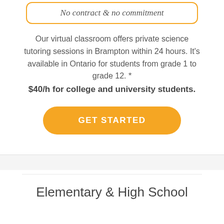No contract & no commitment
Our virtual classroom offers private science tutoring sessions in Brampton within 24 hours. It's available in Ontario for students from grade 1 to grade 12. * $40/h for college and university students.
GET STARTED
Elementary & High School